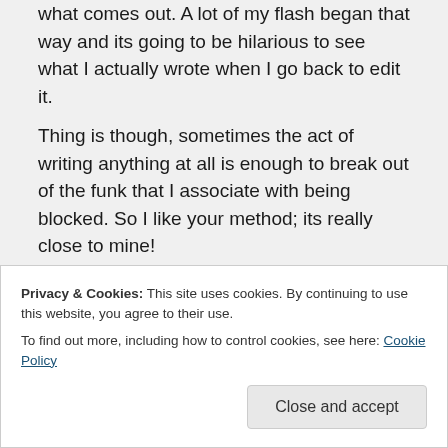what comes out. A lot of my flash began that way and its going to be hilarious to see what I actually wrote when I go back to edit it. Thing is though, sometimes the act of writing anything at all is enough to break out of the funk that I associate with being blocked. So I like your method; its really close to mine!
★ Like
Privacy & Cookies: This site uses cookies. By continuing to use this website, you agree to their use. To find out more, including how to control cookies, see here: Cookie Policy
Close and accept